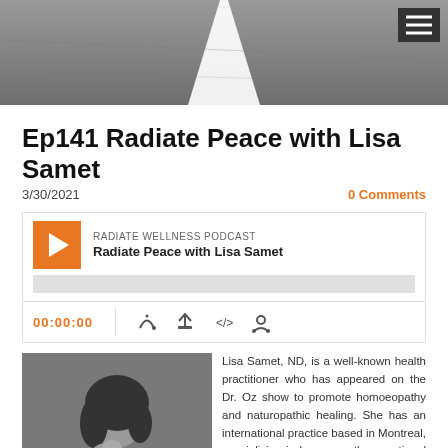[Figure (photo): Header image showing a road from above with a white center line, with a hamburger menu icon in the top right corner on a dark background.]
Ep141 Radiate Peace with Lisa Samet
3/30/2021
0 Comments
[Figure (screenshot): Podcast player widget showing RADIATE WELLNESS PODCAST, episode 'Radiate Peace with Lisa Samet', with orange play button, gray progress bar, time display 00:00:00, and control icons.]
[Figure (photo): Black and white portrait photo of Lisa Samet, a woman with dark hair and glasses resting her chin on her hand.]
Lisa Samet, ND, is a well-known health practitioner who has appeared on the Dr. Oz show to promote homoeopathy and naturopathic healing. She has an international practice based in Montreal, specializing in homoeopathy, emotional wellness, nutrition & lifestyle optimization. When emotional issues are an obstacle to healing, Dr. Samet uses the Emotional Repatterning